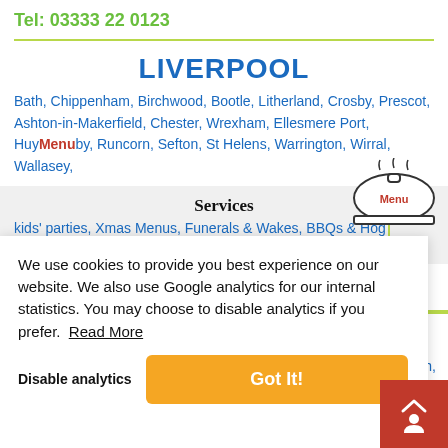Tel: 03333 22 0123
LIVERPOOL
Bath, Chippenham, Birchwood, Bootle, Litherland, Crosby, Prescot, Ashton-in-Makerfield, Chester, Wrexham, Ellesmere Port, Huyton, Runcorn, Sefton, St Helens, Warrington, Wirral, Wallasey,
Services
kids' parties, Xmas Menus, Funerals & Wakes, BBQs & Hog Roasts, Hire,
[Figure (illustration): Catering bell/cloche icon with steam lines and Menu label]
We use cookies to provide you best experience on our website. We also use Google analytics for our internal statistics. You may choose to disable analytics if you prefer. Read More
Disable analytics    Got It!
ich,